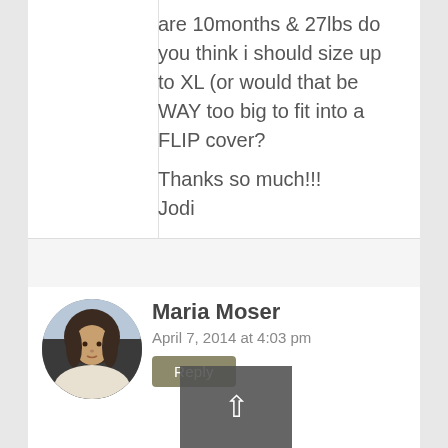are 10months & 27lbs do you think i should size up to XL (or would that be WAY too big to fit into a FLIP cover?

Thanks so much!!!
Jodi
Maria Moser
April 7, 2014 at 4:03 pm
Reply
Hi Jodi! The jersey is like a soft t-shirt while the fleece is fuzzy like the inside of a